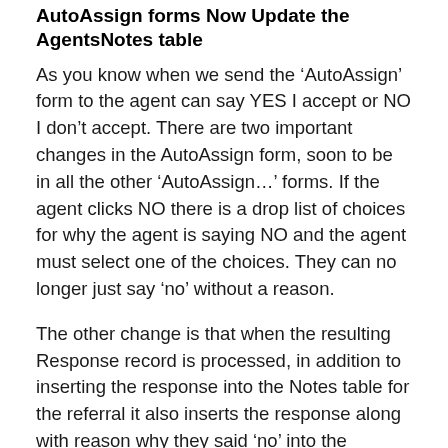AutoAssign forms Now Update the AgentsNotes table
As you know when we send the ‘AutoAssign’ form to the agent can say YES I accept or NO I don’t accept. There are two important changes in the AutoAssign form, soon to be in all the other ‘AutoAssign…’ forms. If the agent clicks NO there is a drop list of choices for why the agent is saying NO and the agent must select one of the choices. They can no longer just say ‘no’ without a reason.
The other change is that when the resulting Response record is processed, in addition to inserting the response into the Notes table for the referral it also inserts the response along with reason why they said ‘no’ into the AgentsNotes table.
Yes, there is a separate table that stores notes just for a particular agent. Whenever the agent is assigned to a referral in ClientHistory, the response also inserts a